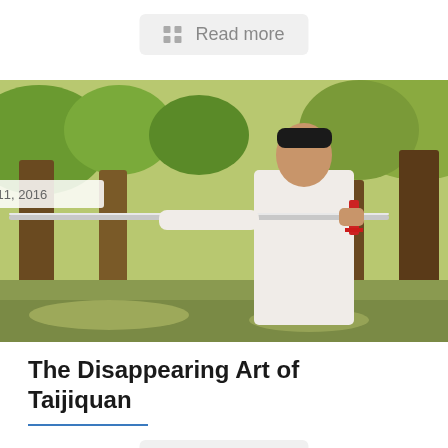[Figure (screenshot): A 'Read more' button with a grid icon on a light gray rounded rectangle background, at the top of the page]
[Figure (photo): A man in white traditional Chinese martial arts clothing holding a sword/jian outdoors in a park with trees. Date overlay reads 'April 11, 2016'.]
The Disappearing Art of Taijiquan
[Figure (screenshot): A 'Read more' button with a grid icon on a light gray rounded rectangle background]